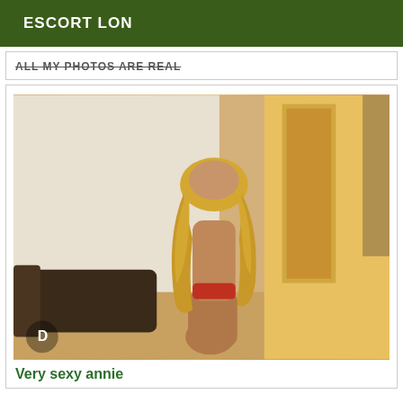ESCORT LON
ALL MY PHOTOS ARE REAL
[Figure (photo): A woman with long curly blonde hair seen from behind, wearing minimal red clothing, standing in a room with a dark sofa, white walls, and a doorway with warm light.]
Very sexy annie